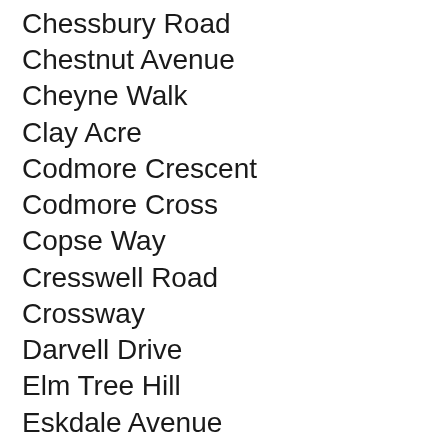Chessbury Road
Chestnut Avenue
Cheyne Walk
Clay Acre
Codmore Crescent
Codmore Cross
Copse Way
Cresswell Road
Crossway
Darvell Drive
Elm Tree Hill
Eskdale Avenue
Eunice Grove
Faithorn Close
Fullers Close
Glenister Road
Grays Walk
Great Hivings